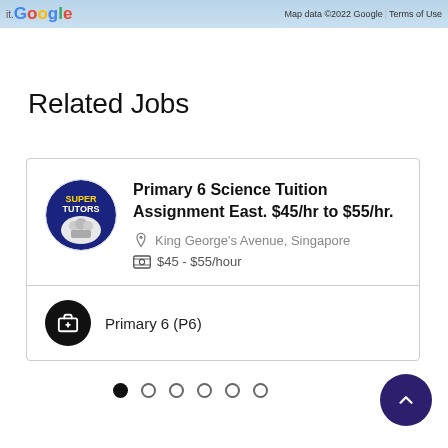Google | Map data ©2022 Google | Terms of Use
Related Jobs
Primary 6 Science Tuition Assignment East. $45/hr to $55/hr.
King George's Avenue, Singapore
$45 - $55/hour
Primary 6 (P6)